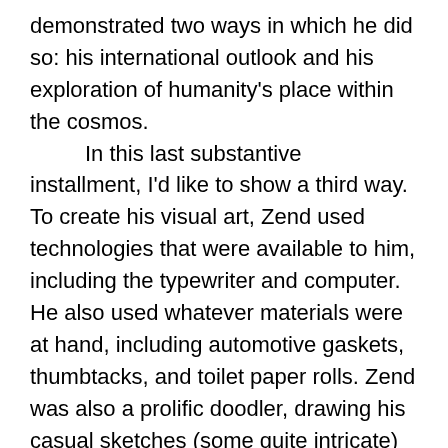demonstrated two ways in which he did so: his international outlook and his exploration of humanity's place within the cosmos. In this last substantive installment, I'd like to show a third way. To create his visual art, Zend used technologies that were available to him, including the typewriter and computer. He also used whatever materials were at hand, including automotive gaskets, thumbtacks, and toilet paper rolls. Zend was also a prolific doodler, drawing his casual sketches (some quite intricate) on everything from Post-It notes to cocktail napkins. I hope that you enjoy this visual feast of works by an extraordinary Canadian writer and artist. I think it's fair to say that many of these have not been seen publicly for a very long time, possibly not since his death almost thirty years ago. The time is overdue for these visual works to